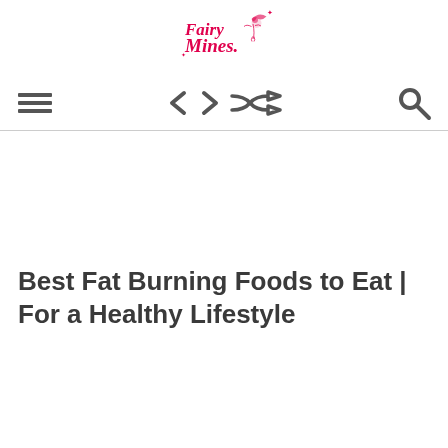Fairy Mines logo
[Figure (logo): Fairy Mines logo in pink cursive script with a fairy illustration]
[Figure (infographic): Navigation bar with hamburger menu icon (three horizontal lines), code/chevron arrows icon, shuffle icon, and search/magnifying glass icon]
Best Fat Burning Foods to Eat | For a Healthy Lifestyle